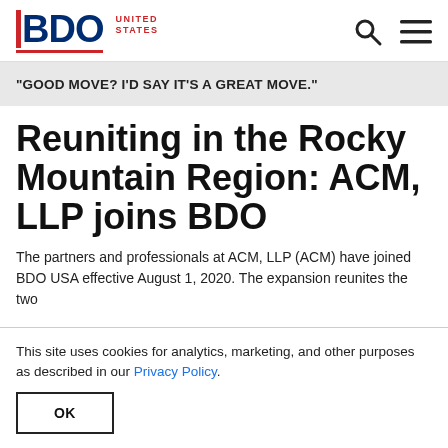BDO UNITED STATES
"GOOD MOVE? I'D SAY IT'S A GREAT MOVE."
Reuniting in the Rocky Mountain Region: ACM, LLP joins BDO
The partners and professionals at ACM, LLP (ACM) have joined BDO USA effective August 1, 2020. The expansion reunites the two
This site uses cookies for analytics, marketing, and other purposes as described in our Privacy Policy.
OK